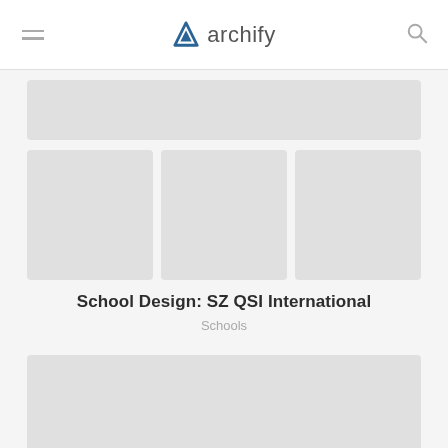archify
[Figure (photo): Gray placeholder image full width]
[Figure (photo): Three gray placeholder thumbnail images side by side]
School Design: SZ QSI International
Schools
[Figure (photo): Large gray placeholder image]